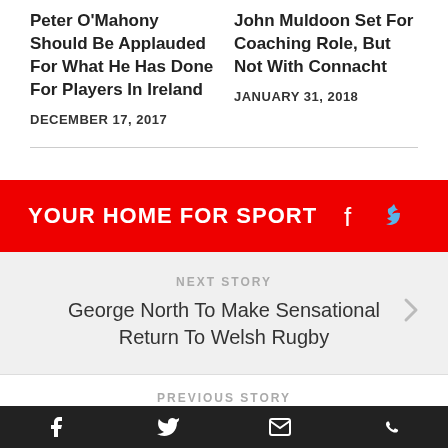Peter O'Mahony Should Be Applauded For What He Has Done For Players In Ireland
DECEMBER 17, 2017
John Muldoon Set For Coaching Role, But Not With Connacht
JANUARY 31, 2018
YOUR HOME FOR SPORT
NEXT STORY
George North To Make Sensational Return To Welsh Rugby
PREVIOUS STORY